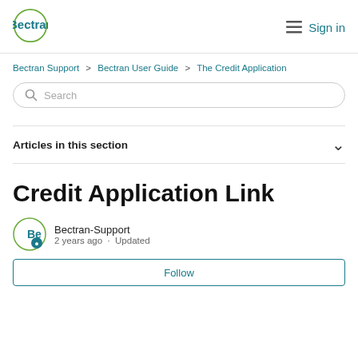Bectran  Sign in
Bectran Support > Bectran User Guide > The Credit Application
Search
Articles in this section
Credit Application Link
Bectran-Support
2 years ago · Updated
Follow